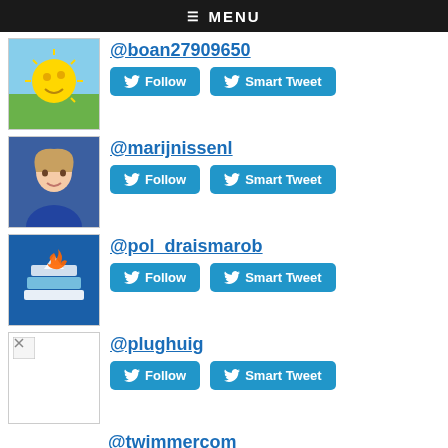≡ MENU
@boan27909650
Follow | Smart Tweet
@marijnissenl
Follow | Smart Tweet
@pol_draismarob
Follow | Smart Tweet
@plughuig
Follow | Smart Tweet
@twimmercom
Follow | Smart Tweet
Top Mentioned in G5:
@guerrillarepor1
Follow | Smart Tweet
@defunctie
Follow | Smart Tweet